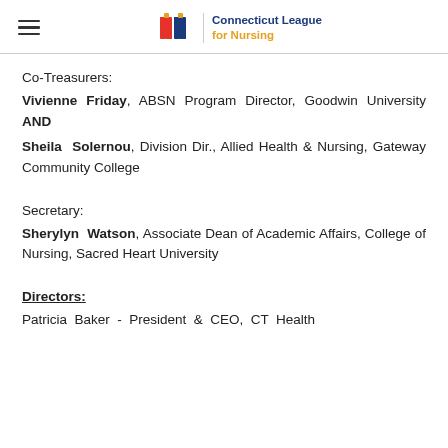Connecticut League for Nursing
Co-Treasurers:
Vivienne Friday, ABSN Program Director, Goodwin University AND
Sheila Solernou, Division Dir., Allied Health & Nursing, Gateway Community College
Secretary:
Sherylyn Watson, Associate Dean of Academic Affairs, College of Nursing, Sacred Heart University
Directors:
Patricia Baker - President & CEO, CT Health